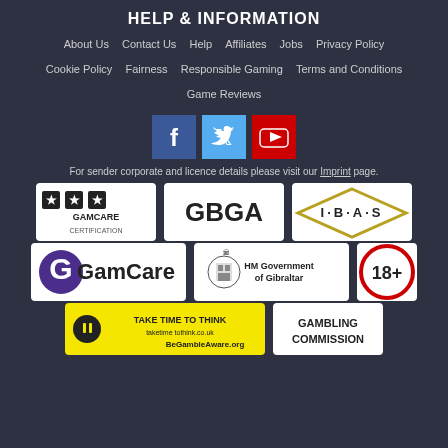HELP & INFORMATION
About Us  Contact Us  Help  Affiliates  Jobs  Privacy Policy
Cookie Policy  Fairness  Responsible Gaming  Terms and Conditions
Game Reviews
[Figure (other): Social media icons: Facebook (blue), Twitter (light blue), YouTube (red)]
For sender corporate and licence details please visit our Imprint page.
[Figure (logo): GamCare Certification stars logo]
[Figure (logo): GBGA logo]
[Figure (logo): IBAS logo]
[Figure (logo): GamCare logo with G symbol]
[Figure (logo): HM Government of Gibraltar logo]
[Figure (logo): 18+ age restriction logo]
[Figure (logo): Take Time To Think / BeGambleAware logo (yellow background)]
[Figure (logo): Gambling Commission logo]